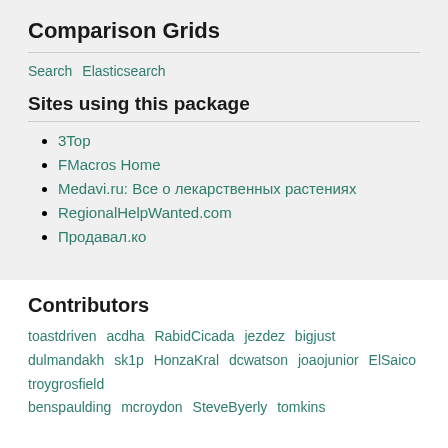Comparison Grids
Search   Elasticsearch
Sites using this package
3Top
FMacros Home
Medavi.ru: Все о лекарственных растениях
RegionalHelpWanted.com
Продавал.ко
Contributors
toastdriven  acdha  RabidCicada  jezdez  bigjust  dulmandakh  sk1p  HonzaKral  dcwatson  joaojunior  ElSaico  troygrosfield  benspaulding  mcroydon  SteveByerly  tomkins